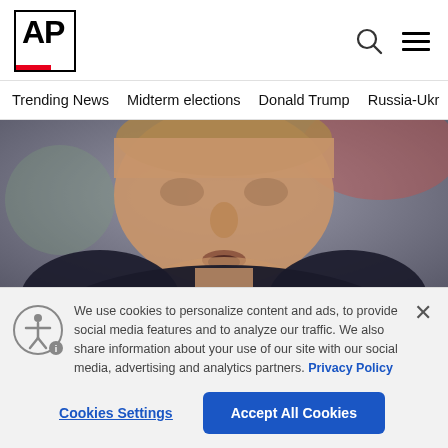AP
Trending News
Midterm elections
Donald Trump
Russia-Ukr
[Figure (photo): Close-up photo of an older man in a dark jacket, mouth slightly open, with blurred background]
Pence says he didn’t leave office with classified material
We use cookies to personalize content and ads, to provide social media features and to analyze our traffic. We also share information about your use of our site with our social media, advertising and analytics partners. Privacy Policy
Cookies Settings  Accept All Cookies